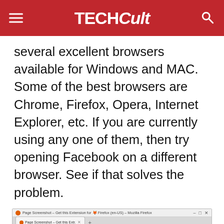TECHCult
several excellent browsers available for Windows and MAC. Some of the best browsers are Chrome, Firefox, Opera, Internet Explorer, etc. If you are currently using any one of them, then try opening Facebook on a different browser. See if that solves the problem.
[Figure (screenshot): Screenshot of Mozilla Firefox browser showing the Firefox Add-ons page with Extensions tab selected and a search for 'page screenshot'.]